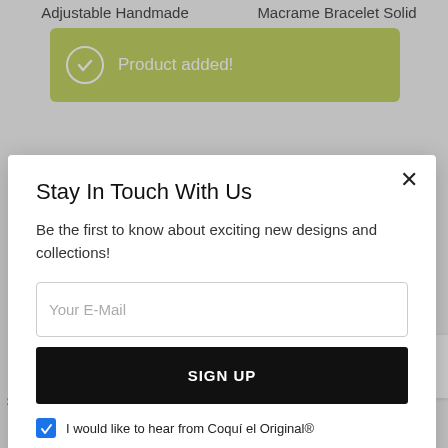Adjustable Handmade   Macrame Bracelet Solid
[Figure (screenshot): Green notification bar with checkmark icon and text 'Product added!']
Stay In Touch With Us
Be the first to know about exciting new designs and collections!
[Figure (screenshot): Email input field with placeholder 'Your E-Mail']
SIGN UP
I would like to hear from Coquí el Original®
Silver .925 and Enamel Flag/Map with Diamond Star on Stainless Steel Cable Bracelet
Bracelet made of Sterling Silver .925 Stainless Steel adjustable up to 8